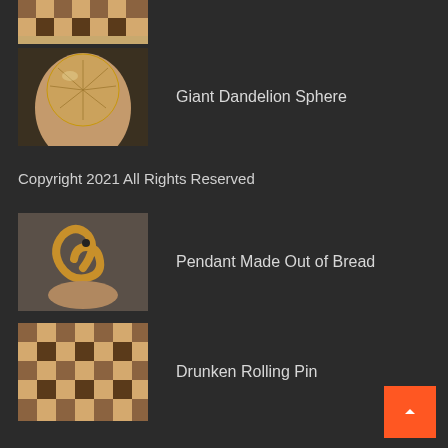[Figure (photo): Partial thumbnail of checkered wooden rolling pin at top of page]
[Figure (photo): Man holding a large transparent sphere containing dandelion seeds]
Giant Dandelion Sphere
Copyright 2021 All Rights Reserved
[Figure (photo): Man holding a bread-shaped spiral pendant]
Pendant Made Out of Bread
[Figure (photo): Checkered wooden rolling pin showing light and dark wood pattern]
Drunken Rolling Pin